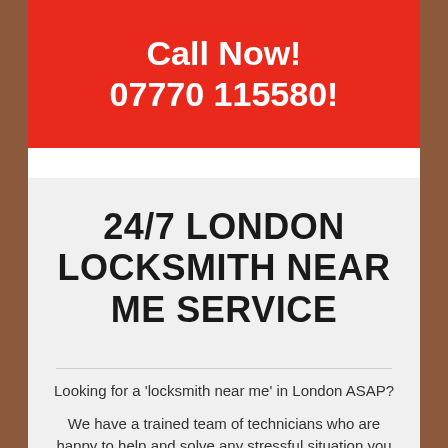Call Now!
07770 115580!
24/7 LONDON LOCKSMITH NEAR ME SERVICE
Looking for a 'locksmith near me' in London ASAP?
We have a trained team of technicians who are happy to help and solve any stressful situation you